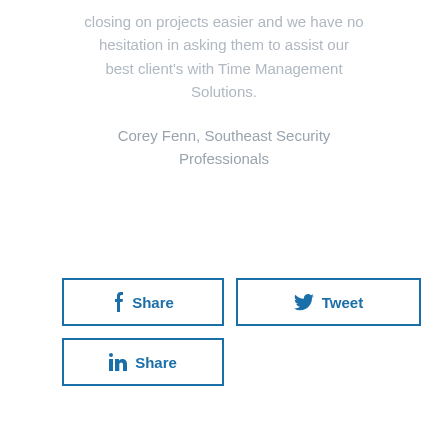closing on projects easier and we have no hesitation in asking them to assist our best client's with Time Management Solutions.
Corey Fenn, Southeast Security Professionals
[Figure (other): Social media sharing buttons: Facebook Share button, Tweet button, LinkedIn Share button]